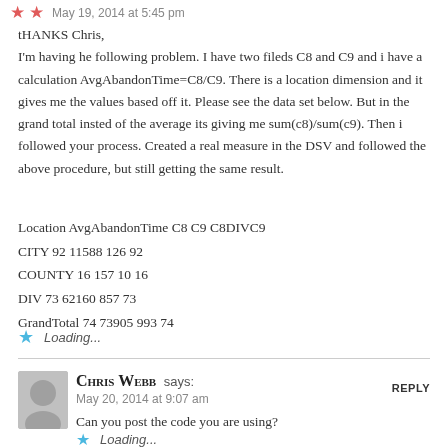May 19, 2014 at 5:45 pm
tHANKS Chris,
I'm having he following problem. I have two fileds C8 and C9 and i have a calculation AvgAbandonTime=C8/C9. There is a location dimension and it gives me the values based off it. Please see the data set below. But in the grand total insted of the average its giving me sum(c8)/sum(c9). Then i followed your process. Created a real measure in the DSV and followed the above procedure, but still getting the same result.
Location AvgAbandonTime C8 C9 C8DIVC9
CITY 92 11588 126 92
COUNTY 16 157 10 16
DIV 73 62160 857 73
GrandTotal 74 73905 993 74
Loading...
Chris Webb says:
May 20, 2014 at 9:07 am
Can you post the code you are using?
Loading...